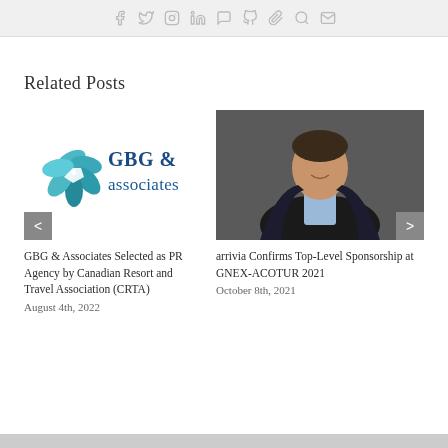[Figure (infographic): Top social media sharing icons bar (Facebook, Twitter, Instagram, LinkedIn, WhatsApp, Tumblr, Pinterest, Search, Email) in grey on light background]
Related Posts
[Figure (logo): GBG & associates logo with teal geometric pentagon shape and blue text]
GBG & Associates Selected as PR Agency by Canadian Resort and Travel Association (CRTA)
August 4th, 2022
[Figure (photo): Professional headshot of a man in a dark suit and light blue shirt, smiling, against a dark grey background]
arrivia Confirms Top-Level Sponsorship at GNEX-ACOTUR 2021
October 8th, 2021